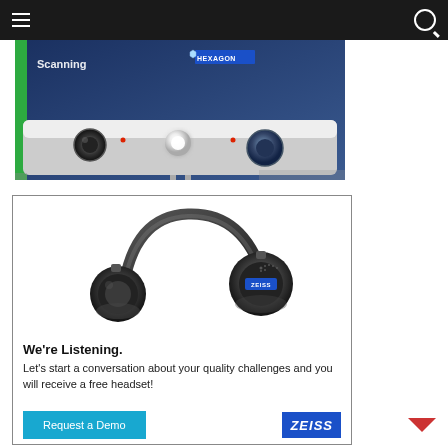[Figure (photo): Hexagon 3D scanning device — close-up of a blue/grey scanning unit with two camera lenses and a central illuminator, 'Scanning' text and HEXAGON logo visible]
[Figure (photo): ZEISS branded over-ear headphones (black) on white background]
We're Listening. Let's start a conversation about your quality challenges and you will receive a free headset!
Request a Demo